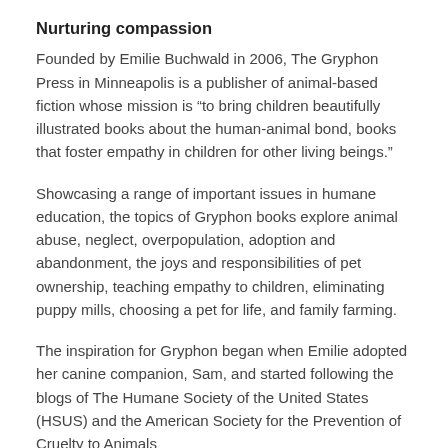Nurturing compassion
Founded by Emilie Buchwald in 2006, The Gryphon Press in Minneapolis is a publisher of animal-based fiction whose mission is “to bring children beautifully illustrated books about the human-animal bond, books that foster empathy in children for other living beings.”
Showcasing a range of important issues in humane education, the topics of Gryphon books explore animal abuse, neglect, overpopulation, adoption and abandonment, the joys and responsibilities of pet ownership, teaching empathy to children, eliminating puppy mills, choosing a pet for life, and family farming.
The inspiration for Gryphon began when Emilie adopted her canine companion, Sam, and started following the blogs of The Humane Society of the United States (HSUS) and the American Society for the Prevention of Cruelty to Animals